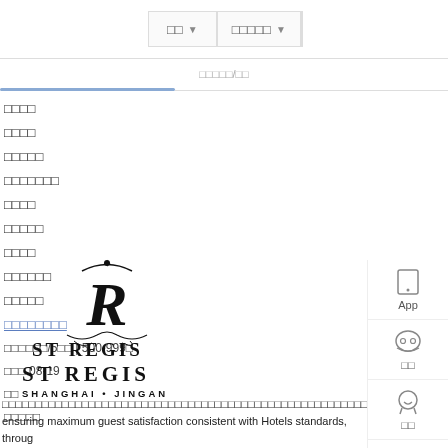□□ ▼ | □□□□□ ▼
□□□□□/□□
□□□□
□□□□
□□□□□
□□□□□□□
□□□□
□□□□□
□□□□
□□□□□□
□□□□□
□□□□□□□□ (link)
□□□□□□/5□□ | 500-999□
□□□ 08-19
□□
□□□□□
[Figure (logo): St. Regis Shanghai Jingan hotel logo with ornate R monogram and text ST REGIS SHANGHAI • JINGAN]
ensuring maximum guest satisfaction consistent with Hotels standards, through consistency in smooth operation and guest satisfaction,particularly measured